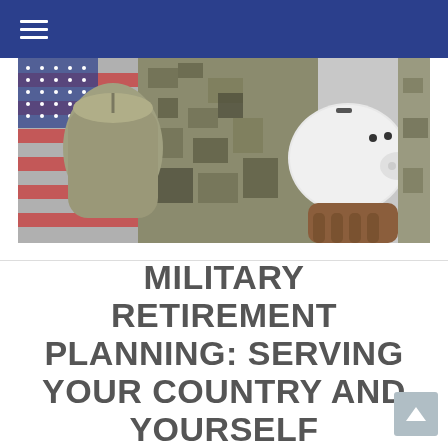Navigation bar with hamburger menu
[Figure (photo): A soldier in camouflage uniform holding a military duffel bag in one hand and a white piggy bank in the other, with an American flag in the background.]
MILITARY RETIREMENT PLANNING: SERVING YOUR COUNTRY AND YOURSELF
October 23, 2017
Share